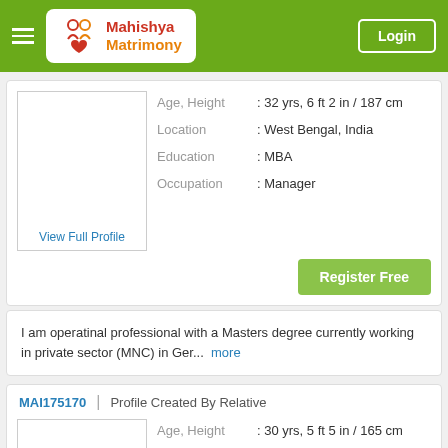Mahishya Matrimony | Login
Age, Height : 32 yrs, 6 ft 2 in / 187 cm | Location : West Bengal, India | Education : MBA | Occupation : Manager
View Full Profile
Register Free
I am operatinal professional with a Masters degree currently working in private sector (MNC) in Ger... more
MAI175170 | Profile Created By Relative
Age, Height : 30 yrs, 5 ft 5 in / 165 cm | Location : West Bengal, India | Education : B Tech | Occupation : Officer
View Full Profile